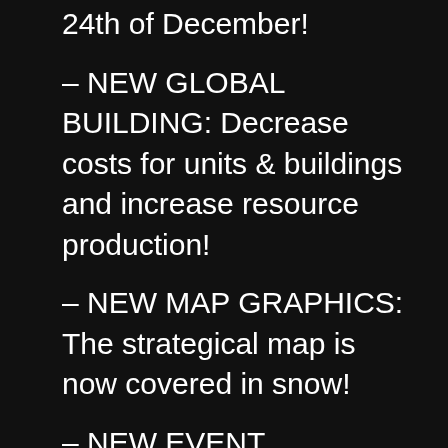24th of December!
– NEW GLOBAL BUILDING: Decrease costs for units & buildings and increase resource production!
– NEW MAP GRAPHICS: The strategical map is now covered in snow!
– NEW EVENT RESOURCE: Gather Christmas-Emblems and earn Rubies!